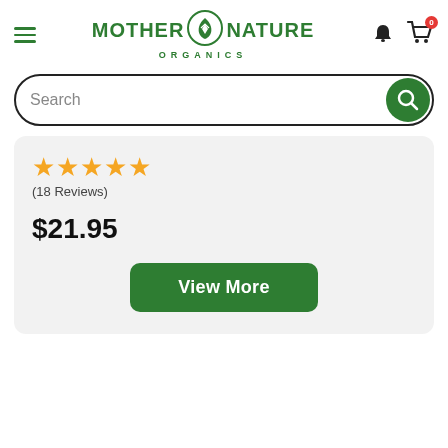Mother Nature Organics
Search
★★★★★ (18 Reviews)
$21.95
View More